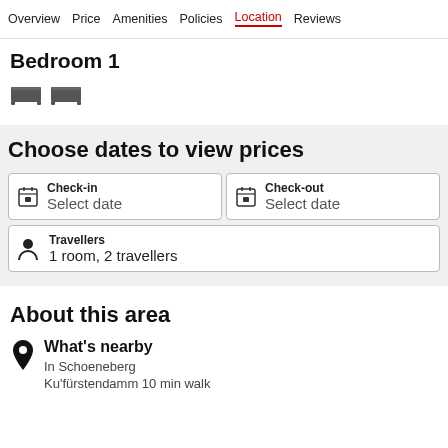Overview  Price  Amenities  Policies  Location  Reviews
Bedroom 1
[Figure (illustration): Two bed icons representing bedroom furniture]
Choose dates to view prices
Check-in  Select date
Check-out  Select date
Travellers  1 room, 2 travellers
About this area
What's nearby
In Schoeneberg
Ku'fürstendamm 10 min walk